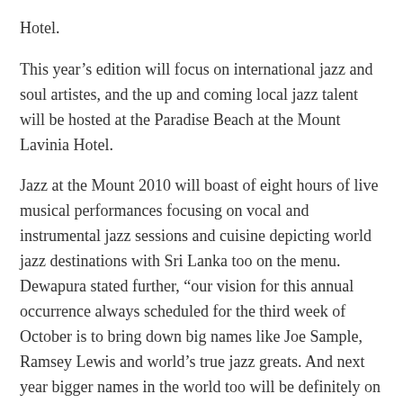Hotel.
This year’s edition will focus on international jazz and soul artistes, and the up and coming local jazz talent will be hosted at the Paradise Beach at the Mount Lavinia Hotel.
Jazz at the Mount 2010 will boast of eight hours of live musical performances focusing on vocal and instrumental jazz sessions and cuisine depicting world jazz destinations with Sri Lanka too on the menu. Dewapura stated further, “our vision for this annual occurrence always scheduled for the third week of October is to bring down big names like Joe Sample, Ramsey Lewis and world’s true jazz greats. And next year bigger names in the world too will be definitely on the cards.”